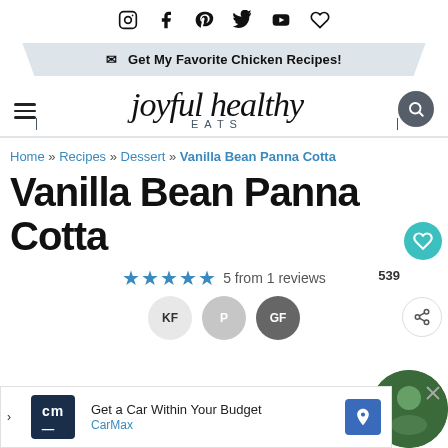Social icons: Instagram, Facebook, Pinterest, Twitter, YouTube, Bloglovin
✉ Get My Favorite Chicken Recipes!
[Figure (logo): Joyful Healthy Eats logo in script font with EATS in small caps]
Home » Recipes » Dessert » Vanilla Bean Panna Cotta
Vanilla Bean Panna Cotta
★★★★★ 5 from 1 reviews
KF P GF (diet badges)
[Figure (screenshot): CarMax advertisement: Get a Car Within Your Budget]